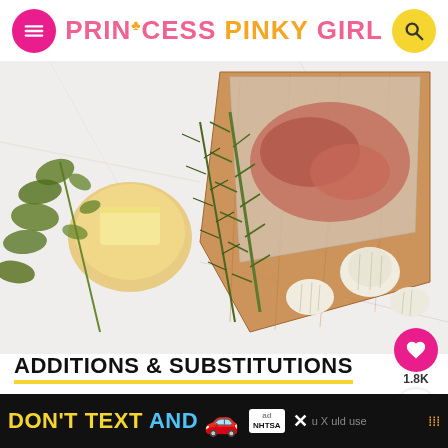PRINCESS PINKY GIRL
[Figure (photo): Food ingredients on a white marble surface: a bowl with a stick of butter, rosemary sprigs, oregano/thyme herbs, garlic cloves, and a cutting board with raw meat in a plastic bag.]
ADDITIONS & SUBSTITUTIONS
Potatoes: We used Honey Gold, baby yellow
[Figure (infographic): Advertisement banner: DON'T TEXT AND [car emoji] with NHTSA ad badge and close button, followed by partially visible text.]